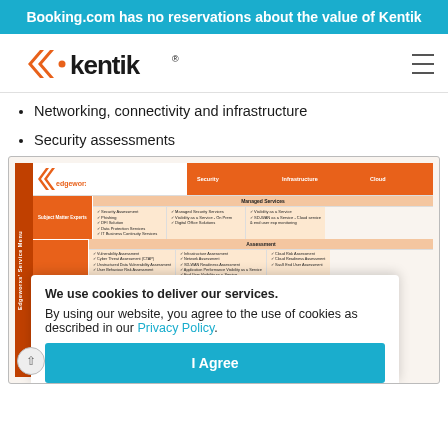Booking.com has no reservations about the value of Kentik
[Figure (logo): Kentik logo with orange chevron double-arrows and bold text 'kentik' with registered trademark symbol]
Networking, connectivity and infrastructure
Security assessments
[Figure (screenshot): Screenshot of Edgeworx Service Menu table showing Security, Infrastructure, and Cloud columns with Managed Services and Assessment rows, with a cookie consent overlay dialog showing 'We use cookies to deliver our services. By using our website, you agree to the use of cookies as described in our Privacy Policy.' and an 'I Agree' button]